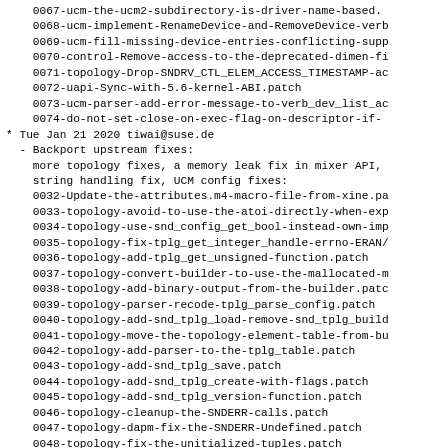0067-ucm-the-ucm2-subdirectory-is-driver-name-based.
0068-ucm-implement-RenameDevice-and-RemoveDevice-verb
0069-ucm-fill-missing-device-entries-conflicting-supp
0070-control-Remove-access-to-the-deprecated-dimen-fi
0071-topology-Drop-SNDRV_CTL_ELEM_ACCESS_TIMESTAMP-ac
0072-uapi-Sync-with-5.6-kernel-ABI.patch
0073-ucm-parser-add-error-message-to-verb_dev_list_ac
0074-do-not-set-close-on-exec-flag-on-descriptor-if-
* Tue Jan 21 2020 tiwai@suse.de
- Backport upstream fixes:
more topology fixes, a memory leak fix in mixer API,
    string handling fix, UCM config fixes:
0032-Update-the-attributes.m4-macro-file-from-xine.pa
0033-topology-avoid-to-use-the-atoi-directly-when-exp
0034-topology-use-snd_config_get_bool-instead-own-imp
0035-topology-fix-tplg_get_integer_handle-errno-ERANG
0036-topology-add-tplg_get_unsigned-function.patch
0037-topology-convert-builder-to-use-the-mallocated-m
0038-topology-add-binary-output-from-the-builder.patc
0039-topology-parser-recode-tplg_parse_config.patch
0040-topology-add-snd_tplg_load-remove-snd_tplg_build
0041-topology-move-the-topology-element-table-from-bu
0042-topology-add-parser-to-the-tplg_table.patch
0043-topology-add-snd_tplg_save.patch
0044-topology-add-snd_tplg_create-with-flags.patch
0045-topology-add-snd_tplg_version-function.patch
0046-topology-cleanup-the-SNDERR-calls.patch
0047-topology-dapm-fix-the-SNDERR-Undefined.patch
0048-topology-fix-the-unitialized-tuples.patch
0049-topology-implement-shorter-hexa-uuid-00-00-parse
0050-topology-fix-the-TPLG_ITEM-xmit-in-builder.patch